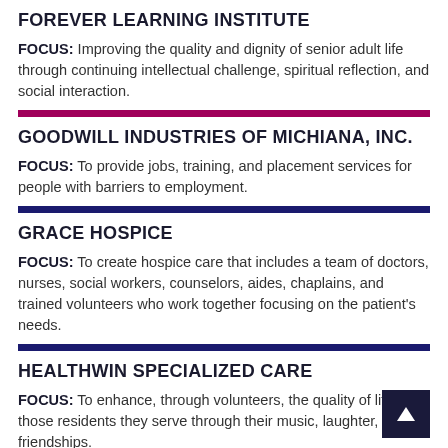FOREVER LEARNING INSTITUTE
FOCUS: Improving the quality and dignity of senior adult life through continuing intellectual challenge, spiritual reflection, and social interaction.
GOODWILL INDUSTRIES OF MICHIANA, INC.
FOCUS: To provide jobs, training, and placement services for people with barriers to employment.
GRACE HOSPICE
FOCUS: To create hospice care that includes a team of doctors, nurses, social workers, counselors, aides, chaplains, and trained volunteers who work together focusing on the patient's needs.
HEALTHWIN SPECIALIZED CARE
FOCUS: To enhance, through volunteers, the quality of life of those residents they serve through their music, laughter, and friendships.
HOPE MINISTRIES